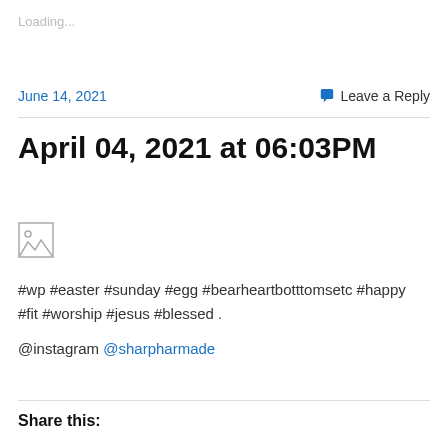Loading...
June 14, 2021
Leave a Reply
April 04, 2021 at 06:03PM
[Figure (other): Broken image placeholder icon]
#wp #easter #sunday #egg #bearheartbotttomsetc #happy #fit #worship #jesus #blessed .
@instagram @sharpharmade
Share this: